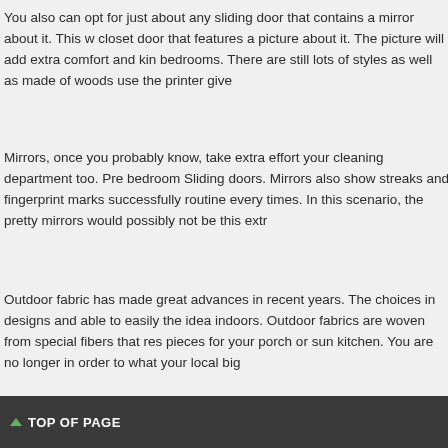You also can opt for just about any sliding door that contains a mirror about it. This w closet door that features a picture about it. The picture will add extra comfort and kin bedrooms. There are still lots of styles as well as made of woods use the printer give
Mirrors, once you probably know, take extra effort your cleaning department too. Pre bedroom Sliding doors. Mirrors also show streaks and fingerprint marks successfully routine every times. In this scenario, the pretty mirrors would possibly not be this extr
Outdoor fabric has made great advances in recent years. The choices in designs and able to easily the idea indoors. Outdoor fabrics are woven from special fibers that res pieces for your porch or sun kitchen. You are no longer in order to what your local big
Carpentry is not merely a craft. It's an art. As Eritellimusmööbel take the time to fine mount light fixture in hours. It will be second nature to continue building without again people who decided stop shopping at furniture outlets and now you'll be joining figure custom furniture if they see how are amazing you are almost always.
FILED UNDER: UNCATEGORIZED
TOP OF PAGE